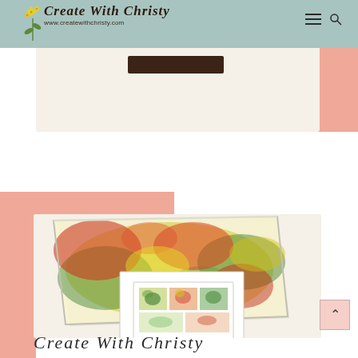Create With Christy — www.createwithchristy.com
[Figure (screenshot): Website screenshot of 'Create With Christy' blog/store page showing logo, navigation, a cream-colored card with a dark brown button, salmon/peach background blocks, and a main product photo card showing colorful marbled art on an acrylic block display along with printed cards, and cursive script text at the bottom.]